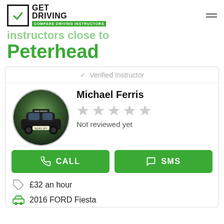[Figure (logo): Get Driving logo with green checkmark and text 'COMPARE DRIVING INSTRUCTORS']
Instructors close to Peterhead
✓ Verified Instructor
[Figure (photo): Oval photo of a dark car (driving instructor's vehicle) in a forest setting with a sign on the roof]
Michael Ferris
Not reviewed yet
CALL
SMS
£32 an hour
2016 FORD Fiesta